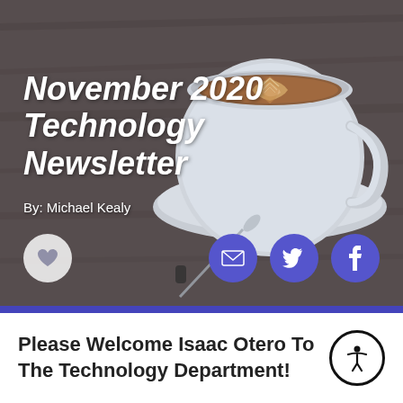[Figure (photo): Hero image of a latte coffee cup with latte art on a wooden table, overlaid with newsletter title text and social sharing buttons]
November 2020 Technology Newsletter
By: Michael Kealy
Please Welcome Isaac Otero To The Technology Department!